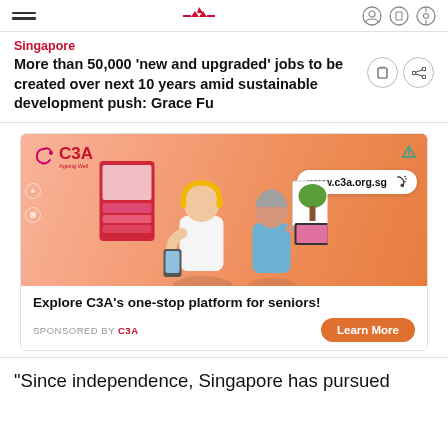Singapore — navigation header
Singapore
More than 50,000 ‘new and upgraded’ jobs to be created over next 10 years amid sustainable development push: Grace Fu
[Figure (photo): Advertisement banner for C3A (Council for Third Age) showing two seniors — a man with yellow headphones holding a smartphone and a woman painting — against an orange gradient background. Shows logo 'C3A', website 'www.c3a.org.sg', headline 'Explore C3A’s one-stop platform for seniors!', 'SPONSORED BY C3A', and a 'Learn More' orange button.]
“Since independence, Singapore has pursued